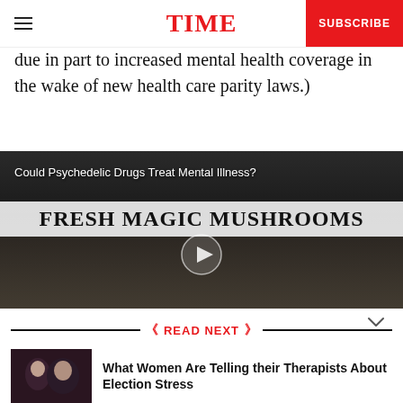TIME  SUBSCRIBE
due in part to increased mental health coverage in the wake of new health care parity laws.)
[Figure (screenshot): Video thumbnail showing a sign reading 'FRESH MAGIC MUSHROOMS' with title overlay 'Could Psychedelic Drugs Treat Mental Illness?' and a play button]
READ NEXT
[Figure (photo): Small thumbnail photo of two people in dark lighting]
What Women Are Telling their Therapists About Election Stress